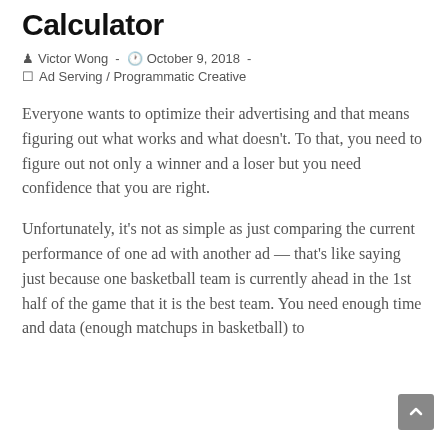Calculator
Victor Wong  -  October 9, 2018  -
Ad Serving / Programmatic Creative
Everyone wants to optimize their advertising and that means figuring out what works and what doesn't. To that, you need to figure out not only a winner and a loser but you need confidence that you are right.
Unfortunately, it's not as simple as just comparing the current performance of one ad with another ad — that's like saying just because one basketball team is currently ahead in the 1st half of the game that it is the best team. You need enough time and data (enough matchups in basketball) to